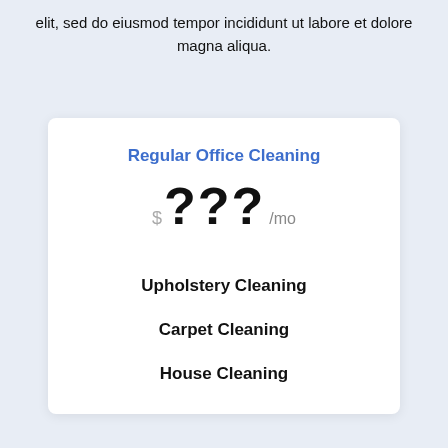elit, sed do eiusmod tempor incididunt ut labore et dolore magna aliqua.
Regular Office Cleaning
$??? /mo
Upholstery Cleaning
Carpet Cleaning
House Cleaning